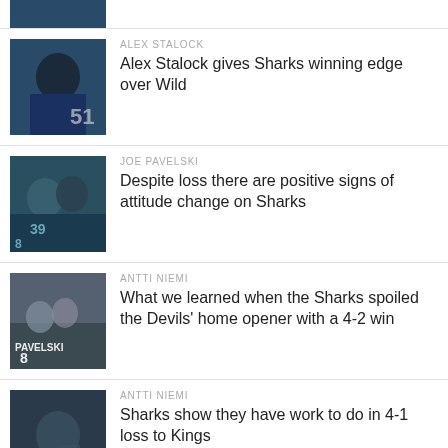[Figure (photo): Partial hockey player photo at top of page]
ALEX STALOCK
Alex Stalock gives Sharks winning edge over Wild
JOE PAVELSKI
Despite loss there are positive signs of attitude change on Sharks
ANTTI NIEMI
What we learned when the Sharks spoiled the Devils' home opener with a 4-2 win
ANTTI NIEMI
Sharks show they have work to do in 4-1 loss to Kings